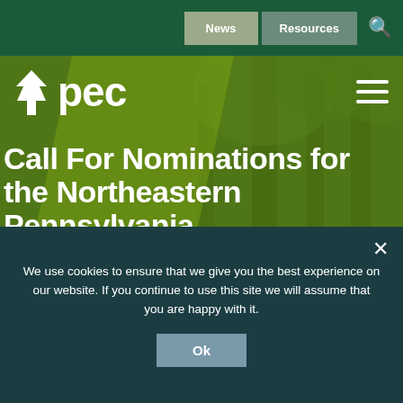News | Resources | [search icon]
[Figure (screenshot): PEC (Pennsylvania Environmental Council) website header with forest background image overlaid with green tint. White PEC logo with tree icon top left, hamburger menu top right.]
Call For Nominations for the Northeastern Pennsylvania Environmental Partnership Awards and the Thomas P.
We use cookies to ensure that we give you the best experience on our website. If you continue to use this site we will assume that you are happy with it.
Ok